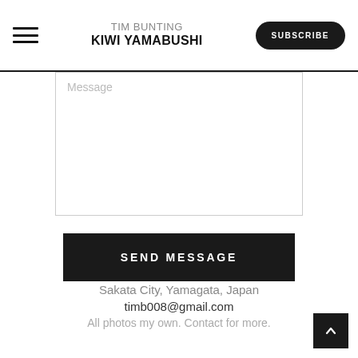TIM BUNTING KIWI YAMABUSHI | SUBSCRIBE
[Figure (screenshot): Message text area form field with placeholder text 'Message' and border]
SEND MESSAGE
Sakata City, Yamagata, Japan
timb008@gmail.com
All photos my own. Contact for more.